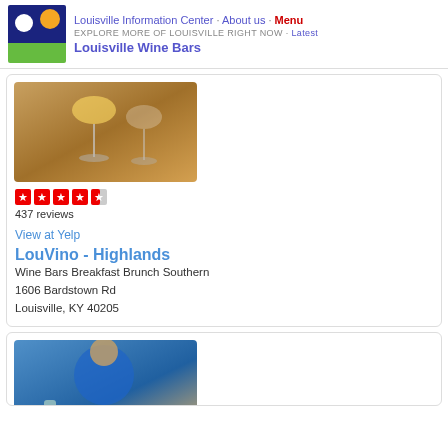Louisville Information Center · About us · Menu
EXPLORE MORE OF LOUISVILLE RIGHT NOW · Latest
Louisville Wine Bars
[Figure (photo): Photo of wine glasses on a wooden surface with a yellow drink]
437 reviews
View at Yelp
LouVino - Highlands
Wine Bars Breakfast Brunch Southern
1606 Bardstown Rd
Louisville, KY 40205
[Figure (photo): Photo of a person in blue shirt with drinks on a table]